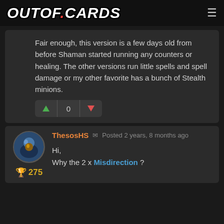OUTOF.CARDS
Fair enough, this version is a few days old from before Shaman started running any counters or healing. The other versions run little spells and spell damage or my other favorite has a bunch of Stealth minions.
ThesosHS   Posted 2 years, 8 months ago
275
Hi,
Why the 2 x Misdirection ?